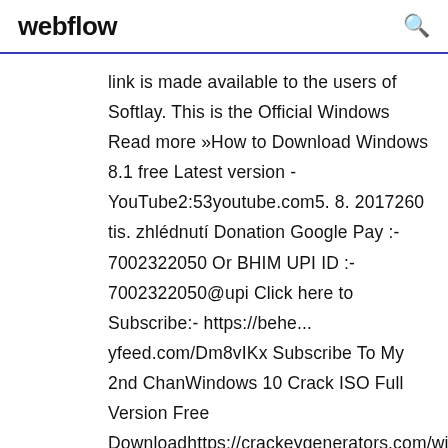webflow
link is made available to the users of Softlay. This is the Official Windows Read more »How to Download Windows 8.1 free Latest version - YouTube2:53youtube.com5. 8. 2017260 tis. zhlédnutí Donation Google Pay :- 7002322050 Or BHIM UPI ID :- 7002322050@upi Click here to Subscribe:- https://behe... yfeed.com/Dm8vIKx Subscribe To My 2nd ChanWindows 10 Crack ISO Full Version Free Downloadhttps://crackeygenerators.com/windows-10-crack-isoMicrosoft has enhanced the variety of new tools in this updated windows that will you to download and use this advanced windows. windows 10 live iso free download. Windows 10 Final / Insider (Multi Lang.) All my